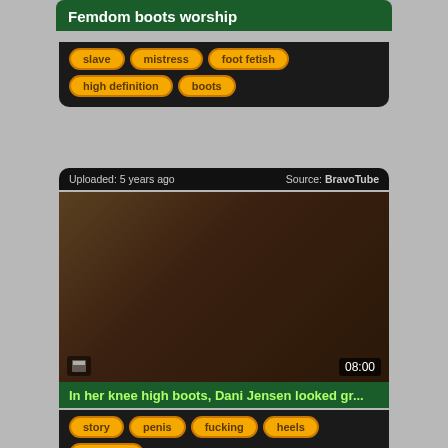Femdom boots worship
slave
mistress
foot fetish
high definition
boots
Uploaded: 5 years ago    Source: BravoTube
[Figure (photo): Video thumbnail showing femdom boots scene, duration 08:00]
In her knee high boots, Dani Jensen looked gr...
story
penis
fucking
heels
hardcore
Uploaded: 5 years ago    Source: Pornhub
[Figure (photo): Video thumbnail showing adult content with space/zodiac theme background, SAGITTARIUS text visible]